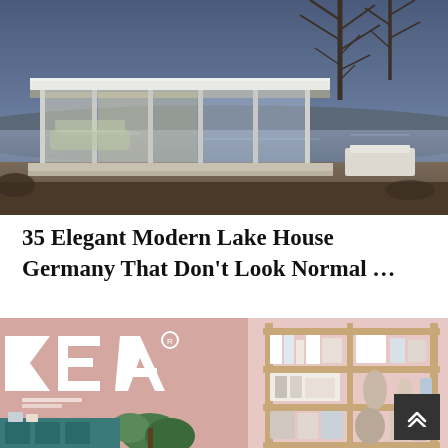[Figure (photo): Modern glass lake house at dusk with large flat roof, floor-to-ceiling glass walls, slim pillars, interior lighting glowing warm, bare trees and a lake visible in the background under a blue-grey sky.]
35 Elegant Modern Lake House Germany That Don't Look Normal …
[Figure (photo): Split image: left side shows IKEA catalog cover with 'KEA' lettering visible in large white text on a pink background with plants and teal/green furniture; right side shows a pink wall-mounted shelving unit with books, white boxes, and decorative items.]